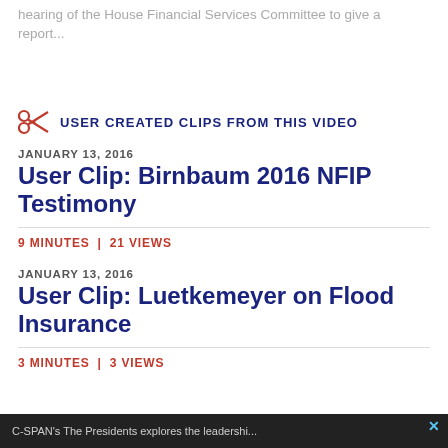hearing of the House Financial Services Committee to give a report...
USER CREATED CLIPS FROM THIS VIDEO
JANUARY 13, 2016
User Clip: Birnbaum 2016 NFIP Testimony
9 MINUTES | 21 VIEWS
JANUARY 13, 2016
User Clip: Luetkemeyer on Flood Insurance
3 MINUTES | 3 VIEWS
[Figure (screenshot): Bottom banner advertisement showing text about CSPAN The Presidents and a close X button]